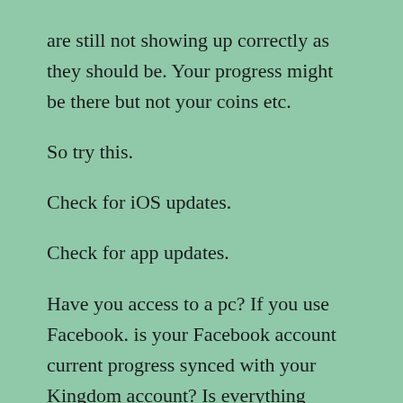are still not showing up correctly as they should be. Your progress might be there but not your coins etc.
So try this.
Check for iOS updates.
Check for app updates.
Have you access to a pc? If you use Facebook. is your Facebook account current progress synced with your Kingdom account? Is everything showing as it should be on PC?
Once you have done that, or if you don't have access to a pc anyway, follow these steps.